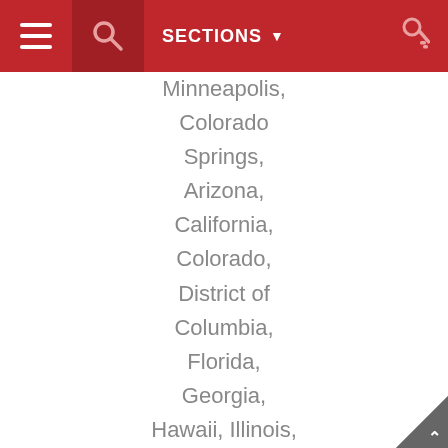SECTIONS
Minneapolis,
Colorado Springs,
Arizona,
California,
Colorado,
District of Columbia,
Florida,
Georgia,
Hawaii, Illinois,
Indiana,
Louisiana,
Maryland,
Massachusetts
, Michigan,